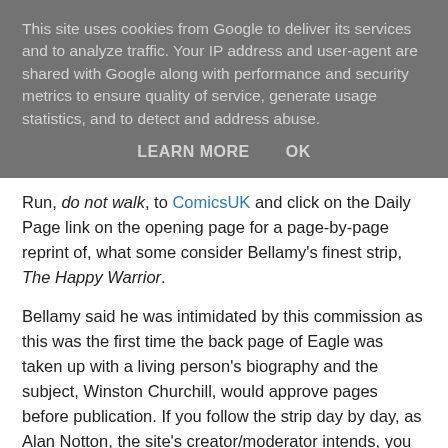This site uses cookies from Google to deliver its services and to analyze traffic. Your IP address and user-agent are shared with Google along with performance and security metrics to ensure quality of service, generate usage statistics, and to detect and address abuse.
LEARN MORE   OK
Run, do not walk, to ComicsUK and click on the Daily Page link on the opening page for a page-by-page reprint of, what some consider Bellamy's finest strip, The Happy Warrior.
Bellamy said he was intimidated by this commission as this was the first time the back page of Eagle was taken up with a living person's biography and the subject, Winston Churchill, would approve pages before publication. If you follow the strip day by day, as Alan Notton, the site's creator/moderator intends, you will see Bellamy start out in standrad panel formats, but later experiment with the panels style he later was loved and remembered for.